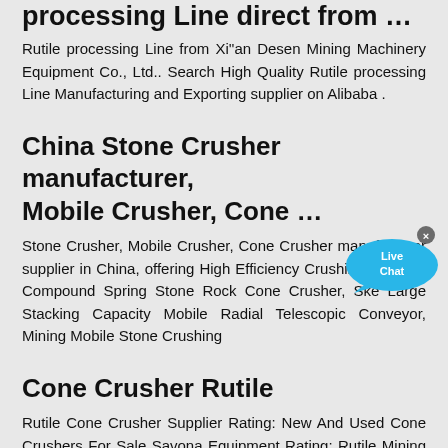processing Line direct from …
Rutile processing Line from Xi"an Desen Mining Machinery Equipment Co., Ltd.. Search High Quality Rutile processing Line Manufacturing and Exporting supplier on Alibaba .
China Stone Crusher manufacturer, Mobile Crusher, Cone …
Stone Crusher, Mobile Crusher, Cone Crusher manufacturer supplier in China, offering High Efficiency Crushing Machine Compound Spring Stone Rock Cone Crusher, Ske Large Stacking Capacity Mobile Radial Telescopic Conveyor, Mining Mobile Stone Crushing
Cone Crusher Rutile
Rutile Cone Crusher Supplier Rating: New And Used Cone Crushers For Sale Savona Equipment Rating: Rutile Mining Process Equipment Flow Cases Jxsc …
Rutile Cone Crusher Supplier